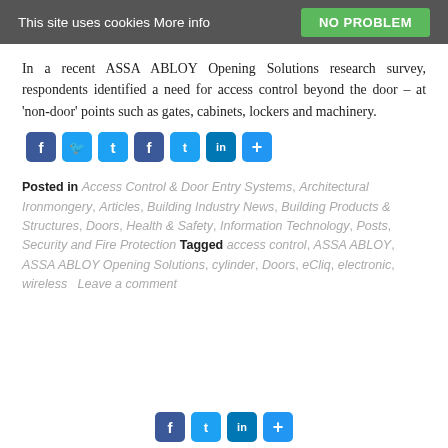This site uses cookies More info   NO PROBLEM
In a recent ASSA ABLOY Opening Solutions research survey, respondents identified a need for access control beyond the door – at 'non-door' points such as gates, cabinets, lockers and machinery.
[Figure (other): Social share buttons: Facebook, Twitter, LinkedIn, Share (+)]
Posted in Access Control & Door Entry Systems, Architectural Ironmongery, Articles, Building Industry News, Building Products & Structures, Doors, Health & Safety, Information Technology, Posts, Security and Fire Protection  Tagged access control, ASSA ABLOY, ASSA ABLOY Opening Solutions, cylinder, Doors, eCliq, electronic, wireless   Leave a comment
[Figure (other): Social share buttons row at bottom: Facebook, Twitter, LinkedIn, Share (+)]